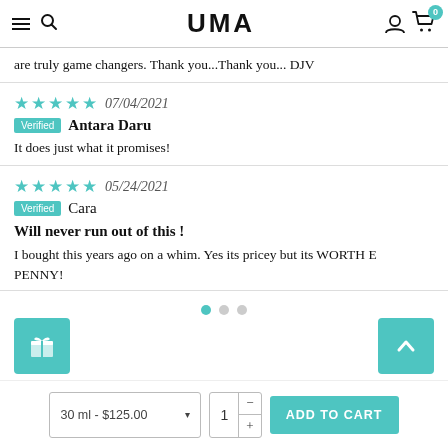UMA
are truly game changers. Thank you...Thank you... DJV
★★★★★ 07/04/2021
Verified Antara Daru
It does just what it promises!
★★★★★ 05/24/2021
Verified Cara
Will never run out of this !
I bought this years ago on a whim. Yes its pricey but its WORTH EVERY PENNY!
30 ml - $125.00  1  ADD TO CART